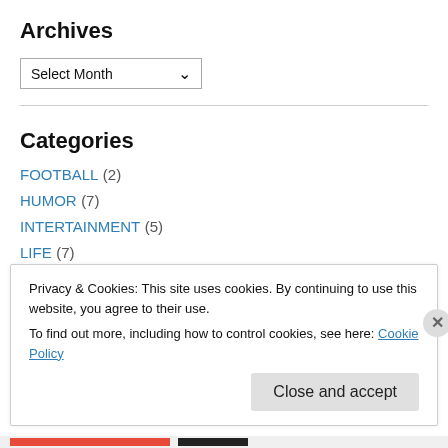Archives
Select Month
Categories
FOOTBALL (2)
HUMOR (7)
INTERTAINMENT (5)
LIFE (7)
MUSIC (1)
NEWS (5)
Privacy & Cookies: This site uses cookies. By continuing to use this website, you agree to their use.
To find out more, including how to control cookies, see here: Cookie Policy
Close and accept